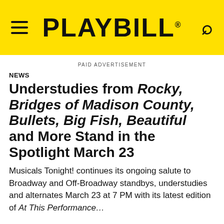PLAYBILL
PAID ADVERTISEMENT
NEWS
Understudies from Rocky, Bridges of Madison County, Bullets, Big Fish, Beautiful and More Stand in the Spotlight March 23
Musicals Tonight! continues its ongoing salute to Broadway and Off-Broadway standbys, understudies and alternates March 23 at 7 PM with its latest edition of At This Performance....